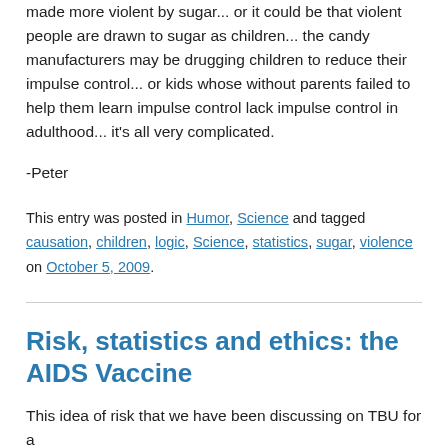made more violent by sugar... or it could be that violent people are drawn to sugar as children... the candy manufacturers may be drugging children to reduce their impulse control... or kids whose without parents failed to help them learn impulse control lack impulse control in adulthood... it's all very complicated.
-Peter
This entry was posted in Humor, Science and tagged causation, children, logic, Science, statistics, sugar, violence on October 5, 2009.
Risk, statistics and ethics: the AIDS Vaccine
This idea of risk that we have been discussing on TBU for a